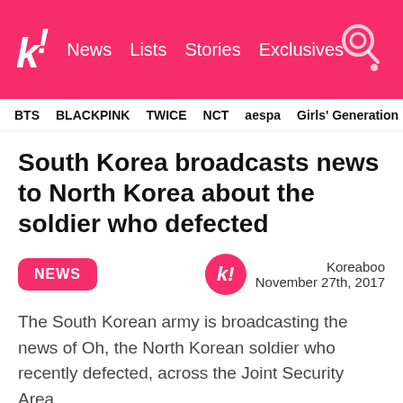k! News Lists Stories Exclusives
BTS BLACKPINK TWICE NCT aespa Girls' Generation
South Korea broadcasts news to North Korea about the soldier who defected
NEWS
Koreaboo
November 27th, 2017
The South Korean army is broadcasting the news of Oh, the North Korean soldier who recently defected, across the Joint Security Area.